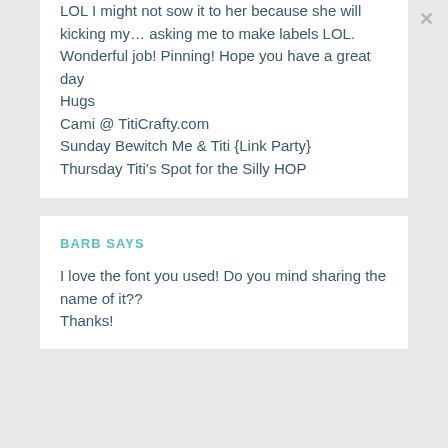LOL I might not sow it to her because she will kicking my… asking me to make labels LOL. Wonderful job! Pinning! Hope you have a great day

Hugs
Cami @ TitiCrafty.com
Sunday Bewitch Me & Titi {Link Party}
Thursday Titi's Spot for the Silly HOP
BARB SAYS
I love the font you used! Do you mind sharing the name of it??
Thanks!